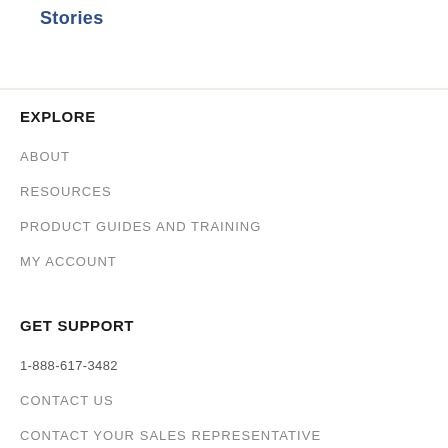Stories
EXPLORE
ABOUT
RESOURCES
PRODUCT GUIDES AND TRAINING
MY ACCOUNT
GET SUPPORT
1-888-617-3482
CONTACT US
CONTACT YOUR SALES REPRESENTATIVE